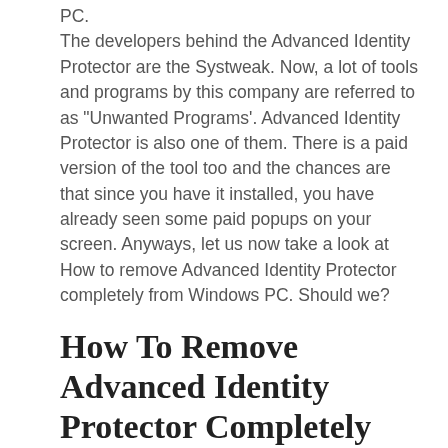PC.
The developers behind the Advanced Identity Protector are the Systweak. Now, a lot of tools and programs by this company are referred to as “Unwanted Programs’. Advanced Identity Protector is also one of them. There is a paid version of the tool too and the chances are that since you have it installed, you have already seen some paid popups on your screen. Anyways, let us now take a look at How to remove Advanced Identity Protector completely from Windows PC. Should we?
How To Remove Advanced Identity Protector Completely From Computer
Advanced identity protector malware??
Now, since the Advanced Identity Protector seems like...